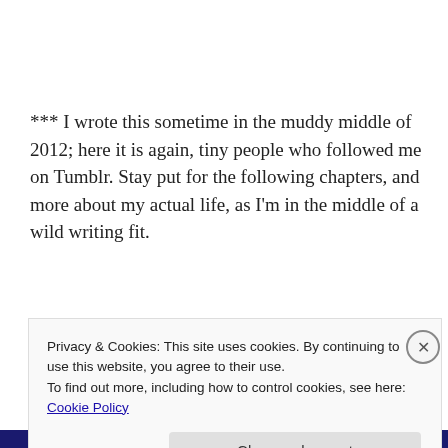*** I wrote this sometime in the muddy middle of 2012; here it is again, tiny people who followed me on Tumblr. Stay put for the following chapters, and more about my actual life, as I'm in the middle of a wild writing fit.
About his...
Privacy & Cookies: This site uses cookies. By continuing to use this website, you agree to their use.
To find out more, including how to control cookies, see here: Cookie Policy
Close and accept